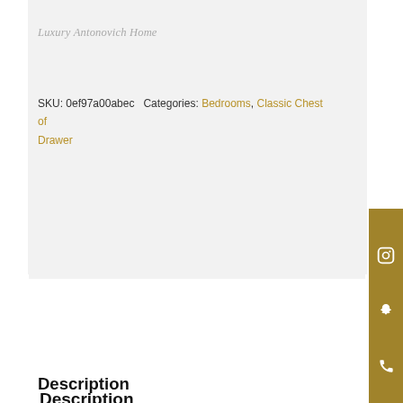Luxury Antonovich Home
SKU: 0ef97a00abec  Categories: Bedrooms, Classic Chest of Drawer
Description
Related Products